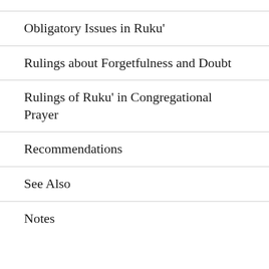Obligatory Issues in Ruku'
Rulings about Forgetfulness and Doubt
Rulings of Ruku' in Congregational Prayer
Recommendations
See Also
Notes